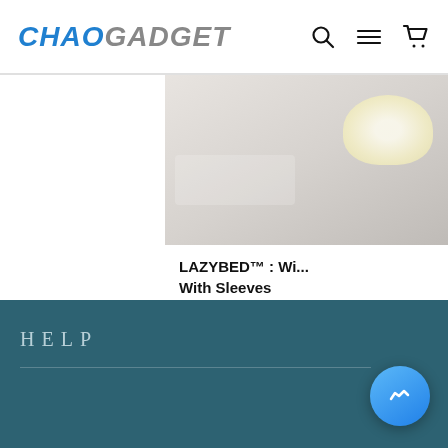CHAO GADGET
[Figure (photo): Product photo of a blanket/bed item, showing fabric with a light-colored object (possibly food on a plate) in the corner, in light gray/beige tones]
LAZYBED™ : Wi... With Sleeves
$110.85  $51.85
HELP